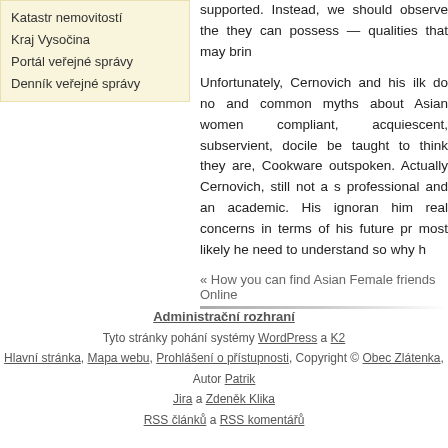Katastr nemovitostí
Kraj Vysočina
Portál veřejné správy
Denník veřejné správy
supported. Instead, we should observe the they can possess — qualities that may brin
Unfortunately, Cernovich and his ilk do no and common myths about Asian women compliant, acquiescent, subservient, docile be taught to think they are, Cookware outspoken. Actually Cernovich, still not a s professional and an academic. His ignoran him real concerns in terms of his future pr most likely he need to understand so why h
« How you can find Asian Female friends Online
Administrační rozhraní
Tyto stránky pohání systémy WordPress a K2
Hlavní stránka, Mapa webu, Prohlášení o přístupnosti, Copyright © Obec Zlátenka, Autor Patrik Jira a Zdeněk Klika
RSS článků a RSS komentářů